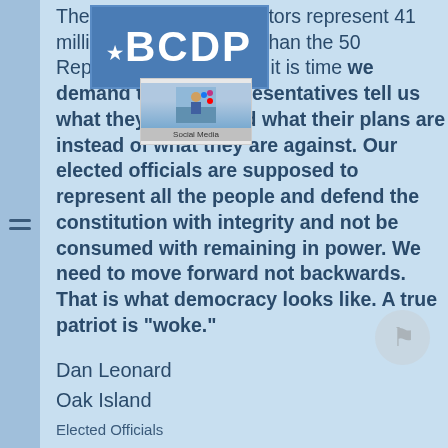[Figure (logo): BCDP (Brunswick County Democratic Party) logo - blue rectangle with white text]
[Figure (screenshot): Social media video thumbnail showing a figure with social media icons, labeled 'Social Media']
The 50 Democratic senators represent 41 million more Americans than the 50 Republican senators, so it is time we demand that our representatives tell us what they are for, and what their plans are instead of what they are against. Our elected officials are supposed to represent all the people and defend the constitution with integrity and not be consumed with remaining in power. We need to move forward not backwards. That is what democracy looks like. A true patriot is “woke.”
Dan Leonard
Oak Island
Elected Officials